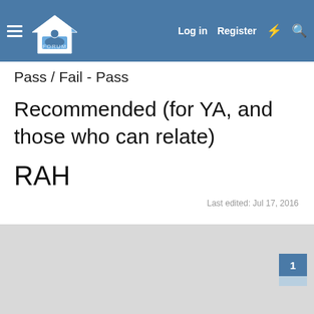HOME THEATER FORUM — Log in  Register
Pass / Fail - Pass
Recommended (for YA, and those who can relate)
RAH
Last edited: Jul 17, 2016